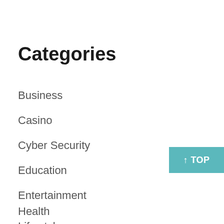Categories
Business
Casino
Cyber Security
Education
Entertainment
Health
Life style